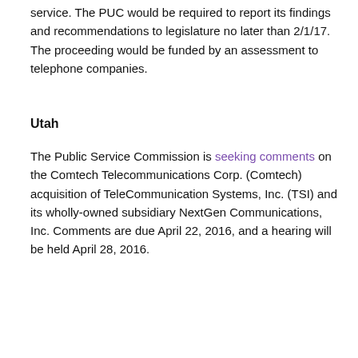service.  The PUC would be required to report its findings and recommendations to legislature no later than 2/1/17.  The proceeding would be funded by an assessment to telephone companies.
Utah
The Public Service Commission is seeking comments on the Comtech Telecommunications Corp. (Comtech) acquisition of TeleCommunication Systems, Inc. (TSI) and its wholly-owned subsidiary NextGen Communications, Inc.  Comments are due April 22, 2016, and a hearing will be held April 28, 2016.